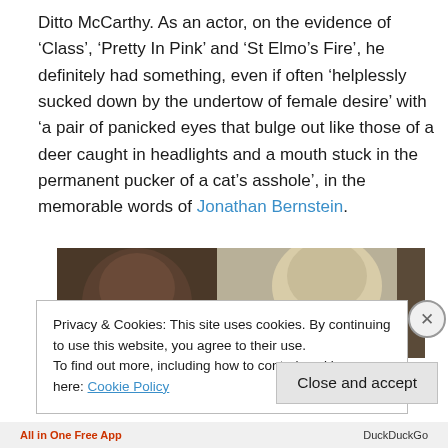Ditto McCarthy. As an actor, on the evidence of ‘Class’, ‘Pretty In Pink’ and ‘St Elmo’s Fire’, he definitely had something, even if often ‘helplessly sucked down by the undertow of female desire’ with ‘a pair of panicked eyes that bulge out like those of a deer caught in headlights and a mouth stuck in the permanent pucker of a cat’s asshole’, in the memorable words of Jonathan Bernstein.
[Figure (photo): Dark cinematic still showing two people, one with dark hair on the left, one with lighter/grey hair on the right, against a light background, partially obscured by cookie overlay]
Privacy & Cookies: This site uses cookies. By continuing to use this website, you agree to their use.
To find out more, including how to control cookies, see here: Cookie Policy
Close and accept